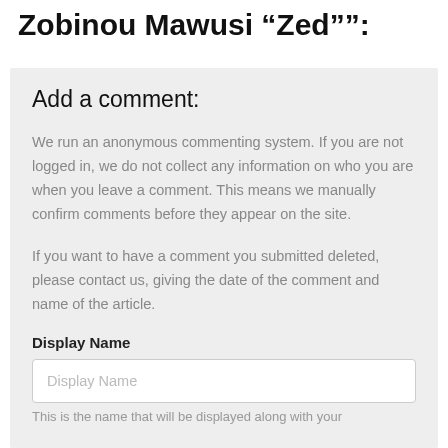Zobinou Mawusi “Zed””:
Add a comment:
We run an anonymous commenting system. If you are not logged in, we do not collect any information on who you are when you leave a comment. This means we manually confirm comments before they appear on the site.
If you want to have a comment you submitted deleted, please contact us, giving the date of the comment and name of the article.
Display Name
Display Name
This is the name that will be displayed along with your